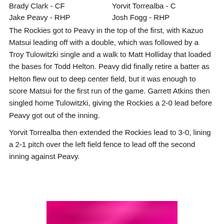Brady Clark - CF    Yorvit Torrealba - C
Jake Peavy - RHP    Josh Fogg - RHP
The Rockies got to Peavy in the top of the first, with Kazuo Matsui leading off with a double, which was followed by a Troy Tulowitzki single and a walk to Matt Holliday that loaded the bases for Todd Helton. Peavy did finally retire a batter as Helton flew out to deep center field, but it was enough to score Matsui for the first run of the game. Garrett Atkins then singled home Tulowitzki, giving the Rockies a 2-0 lead before Peavy got out of the inning.
Yorvit Torrealba then extended the Rockies lead to 3-0, lining a 2-1 pitch over the left field fence to lead off the second inning against Peavy.
[Figure (photo): A pink/magenta colored image, partially visible at the bottom of the page.]